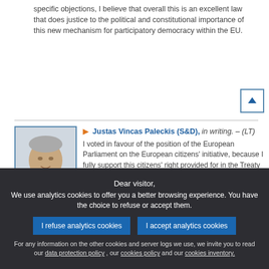specific objections, I believe that overall this is an excellent law that does justice to the political and constitutional importance of this new mechanism for participatory democracy within the EU.
[Figure (photo): Portrait photo of Justas Vincas Paleckis, an older man with grey hair wearing a suit]
Justas Vincas Paleckis (S&D), in writing. – (LT) I voted in favour of the position of the European Parliament on the European citizens' initiative, because I fully support this citizens' right provided for in the Treaty of Lisbon. As an optimist I feel that this may be one of the main instruments helping to bring European Union institutions closer to ordinary people. Ultimately, a civically active part of society will be able to have a direct impact on decisions taken at EU level. It should be recognised that at a time when many
Dear visitor,
We use analytics cookies to offer you a better browsing experience. You have the choice to refuse or accept them.
For any information on the other cookies and server logs we use, we invite you to read our data protection policy , our cookies policy and our cookies inventory.